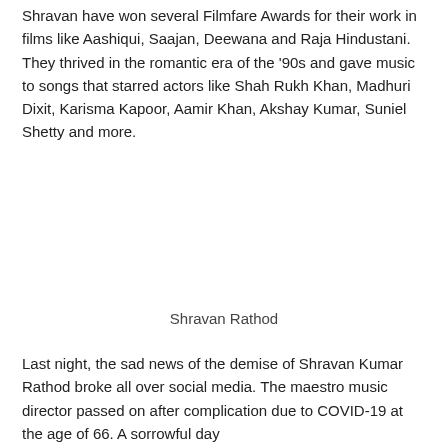Shravan have won several Filmfare Awards for their work in films like Aashiqui, Saajan, Deewana and Raja Hindustani. They thrived in the romantic era of the '90s and gave music to songs that starred actors like Shah Rukh Khan, Madhuri Dixit, Karisma Kapoor, Aamir Khan, Akshay Kumar, Suniel Shetty and more.
Shravan Rathod
Last night, the sad news of the demise of Shravan Kumar Rathod broke all over social media. The maestro music director passed on after complication due to COVID-19 at the age of 66. A sorrowful day